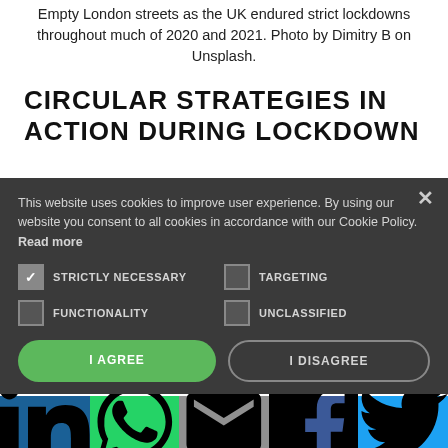Empty London streets as the UK endured strict lockdowns throughout much of 2020 and 2021. Photo by Dimitry B on Unsplash.
CIRCULAR STRATEGIES IN ACTION DURING LOCKDOWN
This website uses cookies to improve user experience. By using our website you consent to all cookies in accordance with our Cookie Policy. Read more
STRICTLY NECESSARY (checked), TARGETING (unchecked)
FUNCTIONALITY (unchecked), UNCLASSIFIED (unchecked)
I AGREE | I DISAGREE
LinkedIn | WhatsApp | Email | Facebook | Twitter